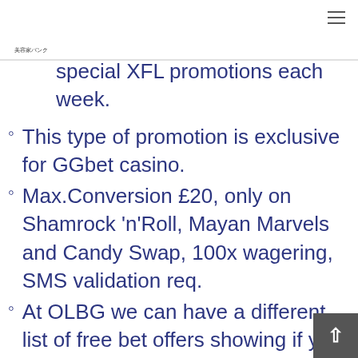美容家バンク
special XFL promotions each week.
This type of promotion is exclusive for GGbet casino.
Max.Conversion £20, only on Shamrock 'n'Roll, Mayan Marvels and Candy Swap, 100x wagering, SMS validation req.
At OLBG we can have a different list of free bet offers showing if you access the site